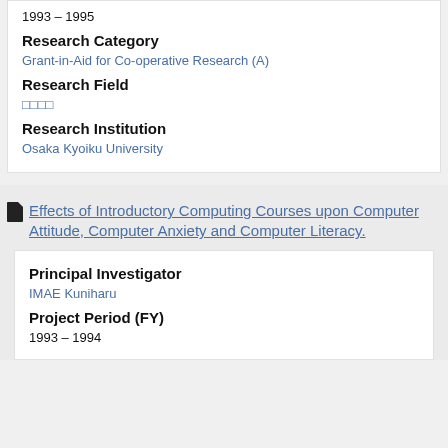1993 – 1995
Research Category
Grant-in-Aid for Co-operative Research (A)
Research Field
□□□□
Research Institution
Osaka Kyoiku University
Effects of Introductory Computing Courses upon Computer Attitude, Computer Anxiety and Computer Literacy.
Principal Investigator
IMAE Kuniharu
Project Period (FY)
1993 – 1994